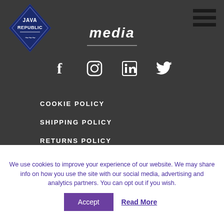[Figure (logo): Java Republic diamond logo in dark blue/navy with white text]
[Figure (other): Hamburger menu icon with three horizontal black bars]
media
[Figure (other): Social media icons row: Facebook, Instagram, LinkedIn, Twitter]
COOKIE POLICY
SHIPPING POLICY
RETURNS POLICY
We use cookies to improve your experience of our website. We may share info on how you use the site with our social media, advertising and analytics partners. You can opt out if you wish.
Accept
Read More